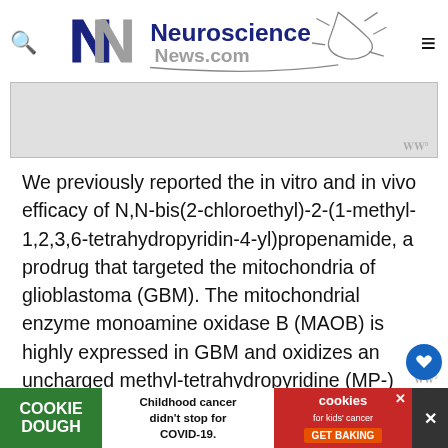Neuroscience News.com
[Figure (screenshot): Gray advertisement banner placeholder with WW logo mark at bottom right]
We previously reported the in vitro and in vivo efficacy of N,N-bis(2-chloroethyl)-2-(1-methyl-1,2,3,6-tetrahydropyridin-4-yl)propenamide, a prodrug that targeted the mitochondria of glioblastoma (GBM). The mitochondrial enzyme monoamine oxidase B (MAOB) is highly expressed in GBM and oxidizes an uncharged methyl-tetrahydropyridine (MP-) moiety into
[Figure (screenshot): Cookie Dough childhood cancer advertisement banner at bottom of page]